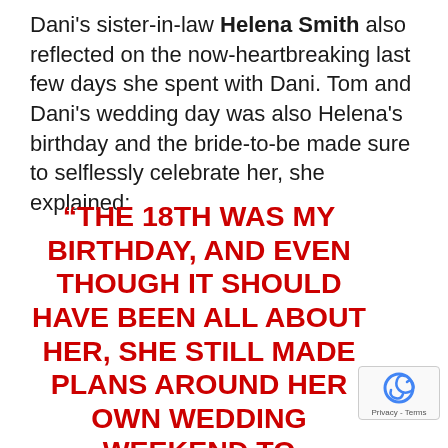Dani's sister-in-law Helena Smith also reflected on the now-heartbreaking last few days she spent with Dani. Tom and Dani's wedding day was also Helena's birthday and the bride-to-be made sure to selflessly celebrate her, she explained:
“THE 18TH WAS MY BIRTHDAY, AND EVEN THOUGH IT SHOULD HAVE BEEN ALL ABOUT HER, SHE STILL MADE PLANS AROUND HER OWN WEDDING WEEKEND TO CELEBRATE ME TOO. I CAN NEVER THANK HER ENOUGH FOR HER SELFLESSNESS AND ALWAYS ALWAYS PUTTING OTHER PEOPLE FIRST, EVEN WHEN SHE